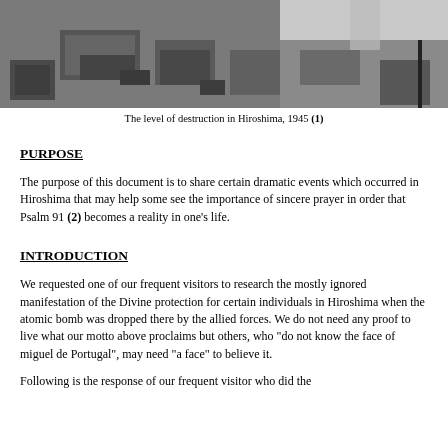[Figure (photo): Black and white aerial photograph showing the level of destruction in Hiroshima, 1945. Rubble and flattened buildings visible across a wide area.]
The level of destruction in Hiroshima, 1945 (1)
PURPOSE
The purpose of this document is to share certain dramatic events which occurred in Hiroshima that may help some see the importance of sincere prayer in order that Psalm 91 (2) becomes a reality in one's life.
INTRODUCTION
We requested one of our frequent visitors to research the mostly ignored manifestation of the Divine protection for certain individuals in Hiroshima when the atomic bomb was dropped there by the allied forces. We do not need any proof to live what our motto above proclaims but others, who "do not know the face of miguel de Portugal", may need "a face" to believe it.
Following is the response of our frequent visitor who did the